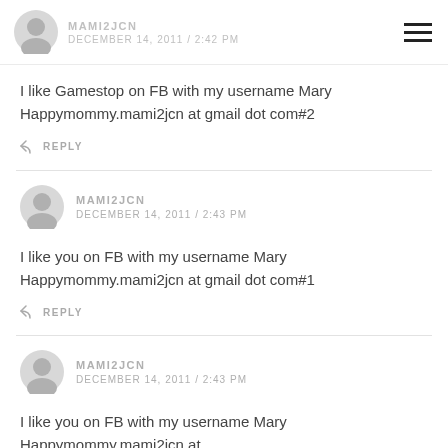MAMI2JCN DECEMBER 14, 2011 / 2:42 PM
I like Gamestop on FB with my username Mary Happymommy.mami2jcn at gmail dot com#2
REPLY
MAMI2JCN DECEMBER 14, 2011 / 2:43 PM
I like you on FB with my username Mary Happymommy.mami2jcn at gmail dot com#1
REPLY
MAMI2JCN DECEMBER 14, 2011 / 2:43 PM
I like you on FB with my username Mary Happymommy.mami2jcn at